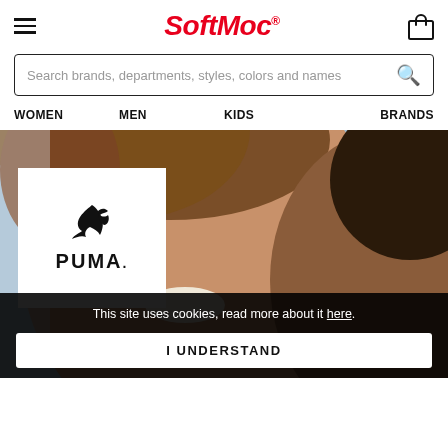SoftMoc
Search brands, departments, styles, colors and names
WOMEN
MEN
KIDS
BRANDS
[Figure (photo): Close-up photo of two smiling young women, one with curly hair in the foreground and one with braided hair to the right. A white card with the PUMA logo overlays the lower-left of the image.]
This site uses cookies, read more about it here.
I UNDERSTAND